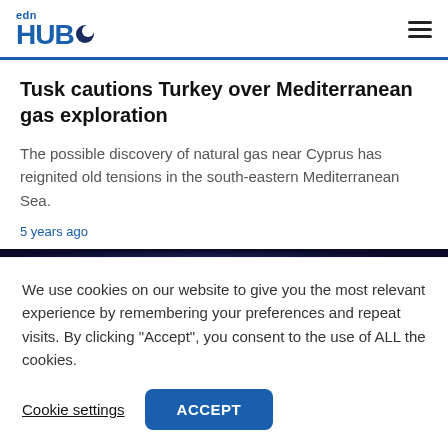edn HUB
Tusk cautions Turkey over Mediterranean gas exploration
The possible discovery of natural gas near Cyprus has reignited old tensions in the south-eastern Mediterranean Sea.
5 years ago
[Figure (photo): Dark blue image strip, partially visible article photo]
We use cookies on our website to give you the most relevant experience by remembering your preferences and repeat visits. By clicking “Accept”, you consent to the use of ALL the cookies.